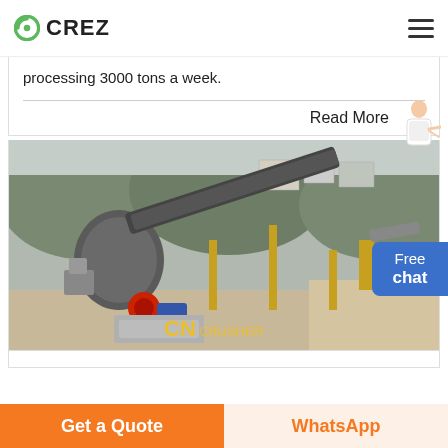CREZ
processing 3000 tons a week.
Read More
[Figure (photo): Aerial view of a large stone crushing plant with conveyor belts, crushers, and heavy machinery. CN CRUSHER watermark visible.]
Free chat
Get a Quote
WhatsApp